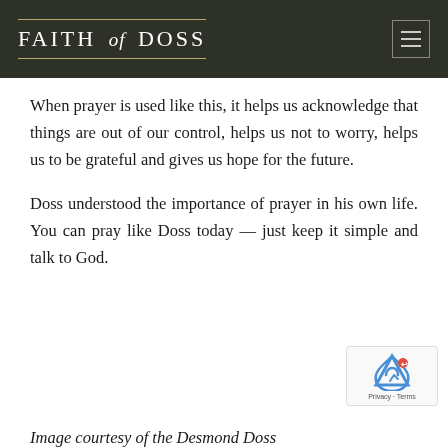FAITH of DOSS
When prayer is used like this, it helps us acknowledge that things are out of our control, helps us not to worry, helps us to be grateful and gives us hope for the future.
Doss understood the importance of prayer in his own life. You can pray like Doss today — just keep it simple and talk to God.
Image courtesy of the Desmond Doss